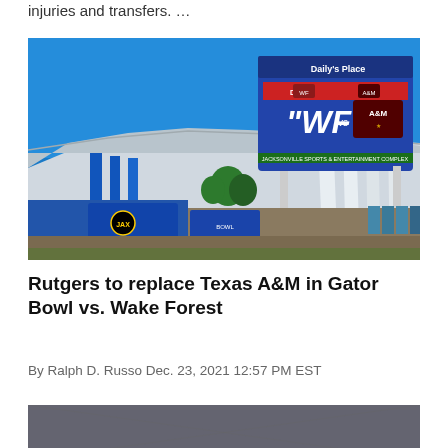injuries and transfers. …
[Figure (photo): Outdoor stadium scene showing a large digital scoreboard/sign displaying 'WF vs A&M' and 'Dec 31', with white structural canopy and blue promotional banners below. Jacksonville Sports & Entertainment Complex sign visible. Blue sky background.]
Rutgers to replace Texas A&M in Gator Bowl vs. Wake Forest
By Ralph D. Russo Dec. 23, 2021 12:57 PM EST
[Figure (photo): Partial bottom photo, content partially cut off.]